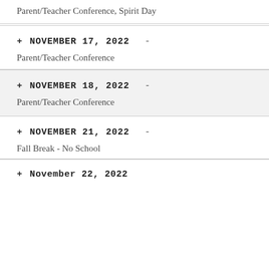Parent/Teacher Conference, Spirit Day
+ NOVEMBER 17, 2022  -
Parent/Teacher Conference
+ NOVEMBER 18, 2022  -
Parent/Teacher Conference
+ NOVEMBER 21, 2022  -
Fall Break - No School
+ NOVEMBER 22, 2022